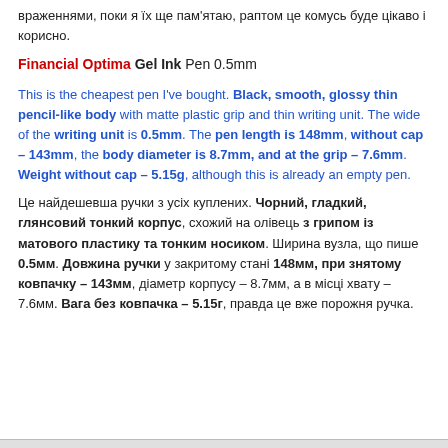враженнями, поки я їх ще пам'ятаю, раптом це комусь буде цікаво і корисно.
Financial Optima Gel Ink Pen 0.5mm
This is the cheapest pen I've bought. Black, smooth, glossy thin pencil-like body with matte plastic grip and thin writing unit. The wide of the writing unit is 0.5mm. The pen length is 148mm, without cap – 143mm, the body diameter is 8.7mm, and at the grip – 7.6mm. Weight without cap – 5.15g, although this is already an empty pen.
Це найдешевша ручки з усіх куплених. Чорний, гладкий, глянсовий тонкий корпус, схожий на олівець з грипом із матового пластику та тонким носиком. Ширина вузла, що пише 0.5мм. Довжина ручки у закритому стані 148мм, при знятому ковпачку – 143мм, діаметр корпусу – 8.7мм, а в місці хвату – 7.6мм. Вага без ковпачка – 5.15г, правда це вже порожня ручка.